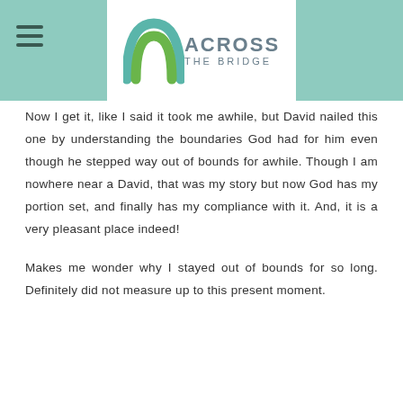ACROSS THE BRIDGE
Now I get it, like I said it took me awhile, but David nailed this one by understanding the boundaries God had for him even though he stepped way out of bounds for awhile. Though I am nowhere near a David, that was my story but now God has my portion set, and finally has my compliance with it. And, it is a very pleasant place indeed!
Makes me wonder why I stayed out of bounds for so long. Definitely did not measure up to this present moment.